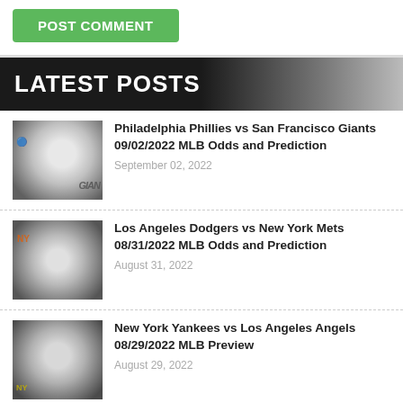[Figure (screenshot): POST COMMENT green button]
LATEST POSTS
[Figure (photo): Baseball thumbnail with Giants logo]
Philadelphia Phillies vs San Francisco Giants 09/02/2022 MLB Odds and Prediction
September 02, 2022
[Figure (photo): Baseball thumbnail with Mets logo]
Los Angeles Dodgers vs New York Mets 08/31/2022 MLB Odds and Prediction
August 31, 2022
[Figure (photo): Baseball thumbnail with Yankees logo]
New York Yankees vs Los Angeles Angels 08/29/2022 MLB Preview
August 29, 2022
[Figure (photo): NFL Preseason thumbnail - Rams vs Bengals]
Los Angeles Rams vs Cincinnati Bengals 08/27/2022 NFL Odds and Prediction